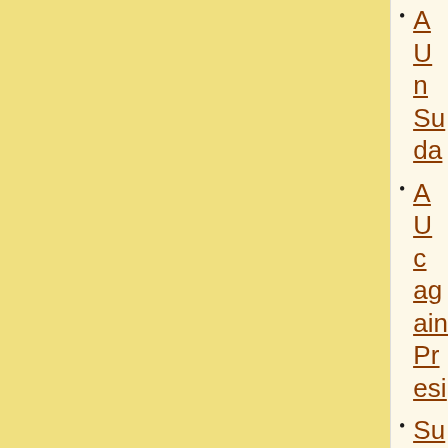AU m Suda
AU c again Presi
Suda presi
Suda El M
Suda betw
Suda Addi
Al Ba Darfu
Al Ba Umn